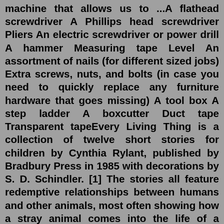machine that allows us to ...A flathead screwdriver A Phillips head screwdriver Pliers An electric screwdriver or power drill A hammer Measuring tape Level An assortment of nails (for different sized jobs) Extra screws, nuts, and bolts (in case you need to quickly replace any furniture hardware that goes missing) A tool box A step ladder A boxcutter Duct tape Transparent tapeEvery Living Thing is a collection of twelve short stories for children by Cynthia Rylant, published by Bradbury Press in 1985 with decorations by S. D. Schindler. [1] The stories all feature redemptive relationships between humans and other animals, most often showing how a stray animal comes into the life of a person just when it is most needed.Every Living Thing (All Creatures Great and Small) Paperback - September 8, 2015 by James Herriot (Author) 3,458 ratings Book 8 of 8: All Creatures Great and Small Kindle $9.99 Read with Our Free App Audiobook $0.00 Free with your Audible trial Hardcover $23.99 - $27.00 16 Used from $15.99 10 New from $27.00 6 Collectible from $20.00